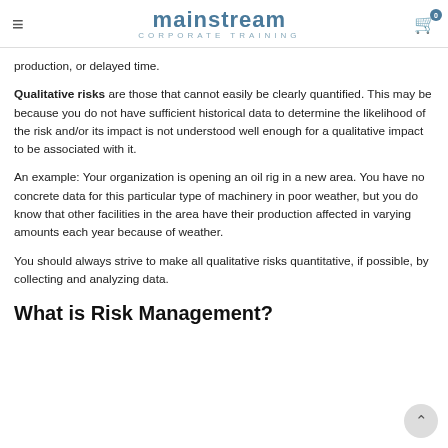mainstream CORPORATE TRAINING
production, or delayed time.
Qualitative risks are those that cannot easily be clearly quantified. This may be because you do not have sufficient historical data to determine the likelihood of the risk and/or its impact is not understood well enough for a qualitative impact to be associated with it.
An example: Your organization is opening an oil rig in a new area. You have no concrete data for this particular type of machinery in poor weather, but you do know that other facilities in the area have their production affected in varying amounts each year because of weather.
You should always strive to make all qualitative risks quantitative, if possible, by collecting and analyzing data.
What is Risk Management?